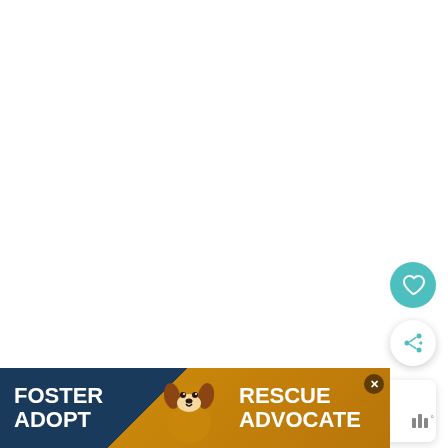[Figure (other): Teal circular FAB button with heart icon (favorite/like button)]
[Figure (other): White circular FAB button with share/add icon]
[Figure (other): What's Next card showing Steven Lim thumbnail with text 'WHAT'S NEXT → Steven Lim – Net Worth,...']
[Figure (other): Advertisement banner: FOSTER ADOPT / RESCUE ADVOCATE with dog image on teal and orange background]
[Figure (other): Mute/audio control icon with bars and degree symbol]